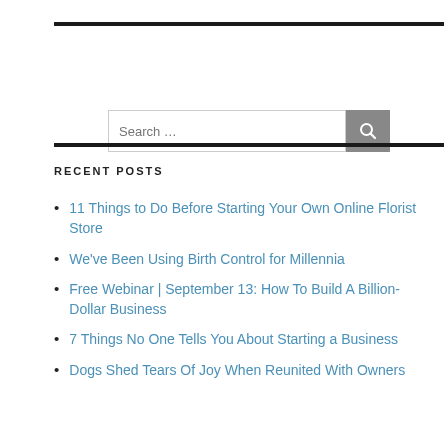[Figure (other): Horizontal black rule at top]
[Figure (other): Search box with search button (magnifier icon)]
[Figure (other): Horizontal black rule below search area]
RECENT POSTS
11 Things to Do Before Starting Your Own Online Florist Store
We've Been Using Birth Control for Millennia
Free Webinar | September 13: How To Build A Billion-Dollar Business
7 Things No One Tells You About Starting a Business
Dogs Shed Tears Of Joy When Reunited With Owners